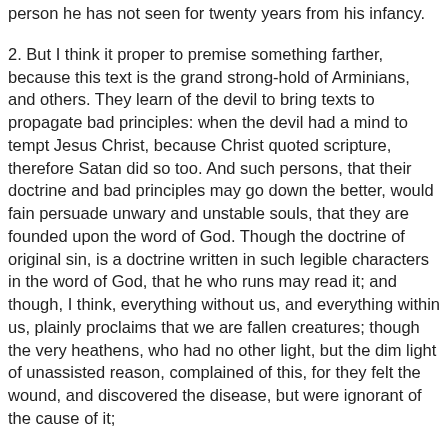person he has not seen for twenty years from his infancy.
2. But I think it proper to premise something farther, because this text is the grand strong-hold of Arminians, and others. They learn of the devil to bring texts to propagate bad principles: when the devil had a mind to tempt Jesus Christ, because Christ quoted scripture, therefore Satan did so too. And such persons, that their doctrine and bad principles may go down the better, would fain persuade unwary and unstable souls, that they are founded upon the word of God. Though the doctrine of original sin, is a doctrine written in such legible characters in the word of God, that he who runs may read it; and though, I think, everything without us, and everything within us, plainly proclaims that we are fallen creatures; though the very heathens, who had no other light, but the dim light of unassisted reason, complained of this, for they felt the wound, and discovered the disease, but were ignorant of the cause of it; yet the great accuracy of the word, hath been: